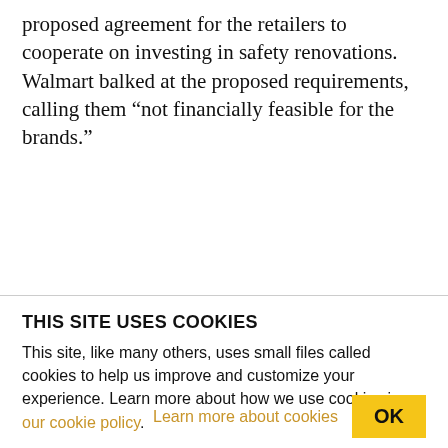proposed agreement for the retailers to cooperate on investing in safety renovations. Walmart balked at the proposed requirements, calling them “not financially feasible for the brands.”
THIS SITE USES COOKIES
This site, like many others, uses small files called cookies to help us improve and customize your experience. Learn more about how we use cookies in our cookie policy.
Learn more about cookies
OK